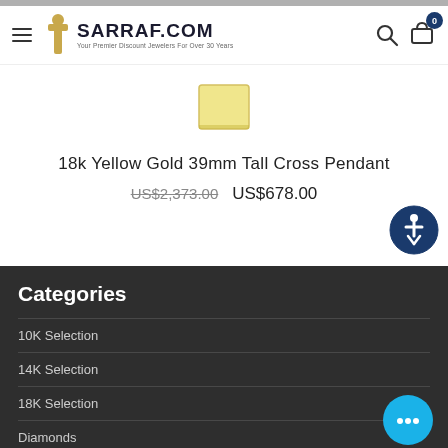SARRAF.COM — Your Premier Discount Jewelers For Over 30 Years
[Figure (photo): Small golden square shape — product thumbnail of 18k Yellow Gold 39mm Tall Cross Pendant]
18k Yellow Gold 39mm Tall Cross Pendant
US$2,373.00  US$678.00
Categories
10K Selection
14K Selection
18K Selection
Diamonds